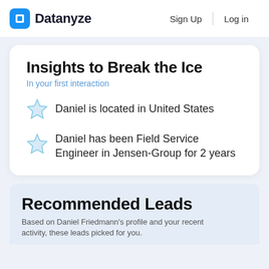Datanyze  Sign Up  Log in
Insights to Break the Ice
In your first interaction
Daniel is located in United States
Daniel has been Field Service Engineer in Jensen-Group for 2 years
Recommended Leads
Based on Daniel Friedmann's profile and your recent activity, these leads picked for you.